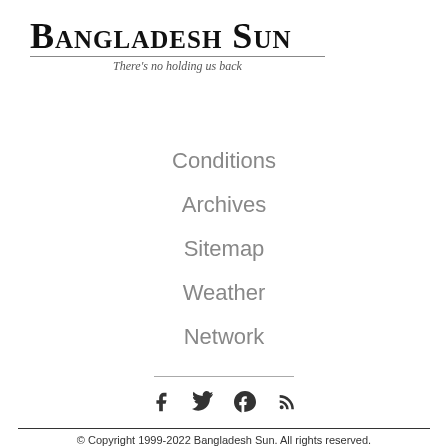Bangladesh Sun
There's no holding us back
Conditions
Archives
Sitemap
Weather
Network
[Figure (other): Social media icons: Facebook, Twitter, Google+, RSS]
© Copyright 1999-2022 Bangladesh Sun. All rights reserved.